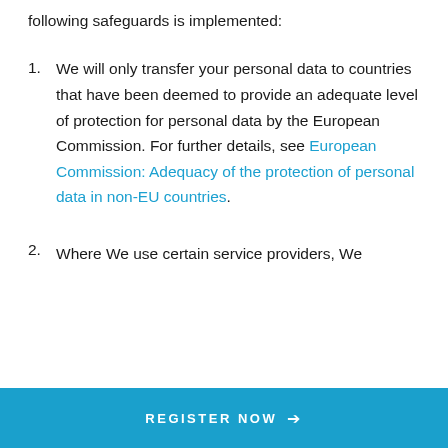following safeguards is implemented:
We will only transfer your personal data to countries that have been deemed to provide an adequate level of protection for personal data by the European Commission. For further details, see European Commission: Adequacy of the protection of personal data in non-EU countries.
Where We use certain service providers, We
REGISTER NOW →